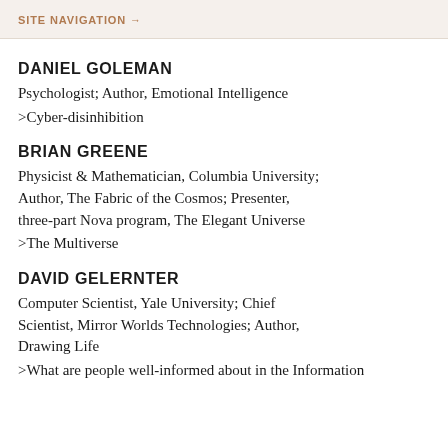SITE NAVIGATION →
DANIEL GOLEMAN
Psychologist; Author, Emotional Intelligence
>Cyber-disinhibition
BRIAN GREENE
Physicist & Mathematician, Columbia University; Author, The Fabric of the Cosmos; Presenter, three-part Nova program, The Elegant Universe
>The Multiverse
DAVID GELERNTER
Computer Scientist, Yale University; Chief Scientist, Mirror Worlds Technologies; Author, Drawing Life
>What are people well-informed about in the Information